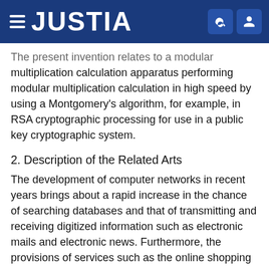JUSTIA
The present invention relates to a modular multiplication calculation apparatus performing modular multiplication calculation in high speed by using a Montgomery's algorithm, for example, in RSA cryptographic processing for use in a public key cryptographic system.
2. Description of the Related Arts
The development of computer networks in recent years brings about a rapid increase in the chance of searching databases and that of transmitting and receiving digitized information such as electronic mails and electronic news. Furthermore, the provisions of services such as the online shopping are on the increase by using those pieces of information. Associated with such services, what have been pointed out are the problems of eavesdropping or tampering with digitized data